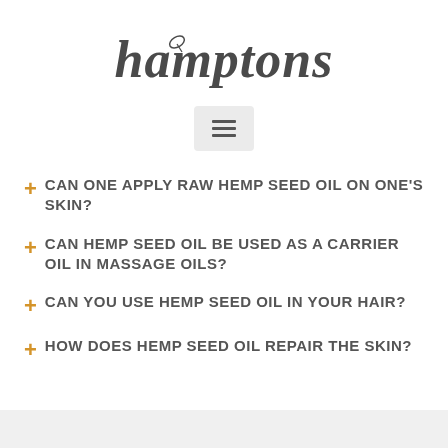[Figure (logo): Hamptons brand logo in cursive/script font, dark gray color]
[Figure (other): Hamburger menu icon (three horizontal lines) inside a light gray rounded rectangle]
CAN ONE APPLY RAW HEMP SEED OIL ON ONE'S SKIN?
CAN HEMP SEED OIL BE USED AS A CARRIER OIL IN MASSAGE OILS?
CAN YOU USE HEMP SEED OIL IN YOUR HAIR?
HOW DOES HEMP SEED OIL REPAIR THE SKIN?